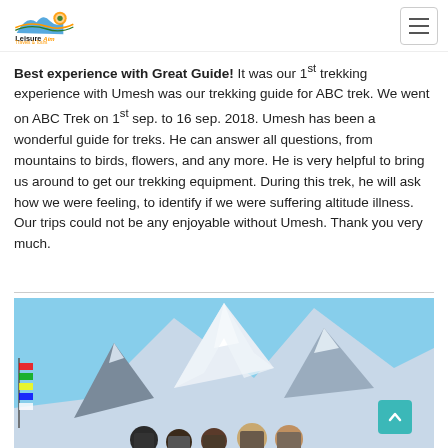Leisure Aim Travels & Tours
Best experience with Great Guide! It was our 1st trekking experience with Umesh was our trekking guide for ABC trek. We went on ABC Trek on 1st sep. to 16 sep. 2018. Umesh has been a wonderful guide for treks. He can answer all questions, from mountains to birds, flowers, and any more. He is very helpful to bring us around to get our trekking equipment. During this trek, he will ask how we were feeling, to identify if we were suffering altitude illness. Our trips could not be any enjoyable without Umesh. Thank you very much.
[Figure (photo): Group of trekkers posing in front of snow-capped Himalayan mountains (Annapurna Base Camp area), with prayer flags visible on the left side.]